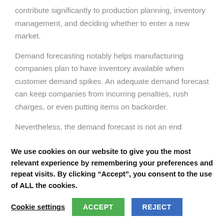contribute significantly to production planning, inventory management, and deciding whether to enter a new market.
Demand forecasting notably helps manufacturing companies plan to have inventory available when customer demand spikes. An adequate demand forecast can keep companies from incurring penalties, rush charges, or even putting items on backorder.
Nevertheless, the demand forecast is not an end
We use cookies on our website to give you the most relevant experience by remembering your preferences and repeat visits. By clicking “Accept”, you consent to the use of ALL the cookies.
Cookie settings
ACCEPT
REJECT